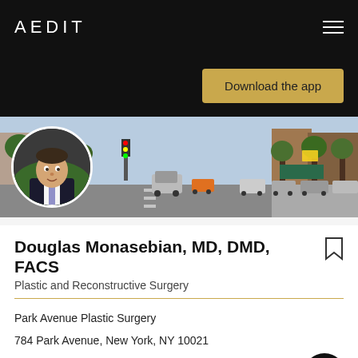AEDIT
Download the app
[Figure (photo): Street scene of Park Avenue in New York City with trees, traffic lights, parked cars, and brownstone buildings. A circular headshot of a man in a dark suit and tie (Dr. Douglas Monasebian) is overlaid in the lower left.]
Douglas Monasebian, MD, DMD, FACS
Plastic and Reconstructive Surgery
Park Avenue Plastic Surgery
784 Park Avenue, New York, NY 10021
Medical Doctor